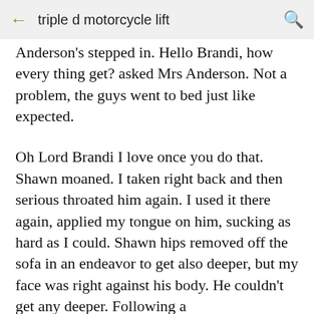triple d motorcycle lift
Anderson's stepped in. Hello Brandi, how every thing get? asked Mrs Anderson. Not a problem, the guys went to bed just like expected.
Oh Lord Brandi I love once you do that. Shawn moaned. I taken right back and then serious throated him again. I used it there again, applied my tongue on him, sucking as hard as I could. Shawn hips removed off the sofa in an endeavor to get also deeper, but my face was right against his body. He couldn't get any deeper. Following a